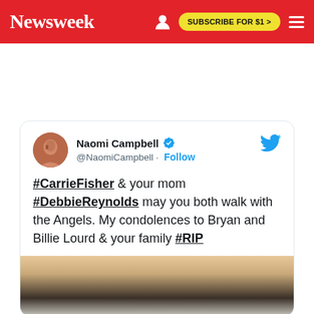Newsweek — SUBSCRIBE FOR $1 >
[Figure (screenshot): Tweet by Naomi Campbell (@NaomiCampbell) with verified badge, Follow button, and Twitter bird icon. Tweet text: '#CarrieFisher & your mom #DebbieReynolds may you both walk with the Angels. My condolences to Bryan and Billie Lourd & your family #RIP'. Below the tweet text is a partial photo.]